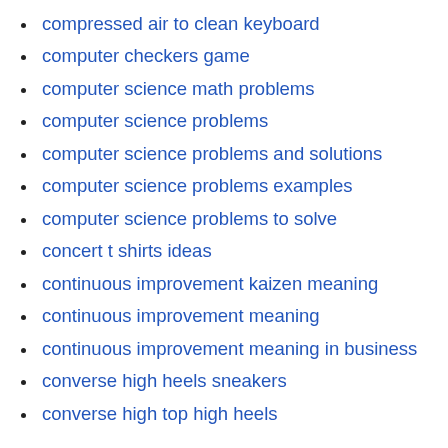comon core math
compressed air to clean keyboard
computer checkers game
computer science math problems
computer science problems
computer science problems and solutions
computer science problems examples
computer science problems to solve
concert t shirts ideas
continuous improvement kaizen meaning
continuous improvement meaning
continuous improvement meaning in business
converse high heels sneakers
converse high top high heels